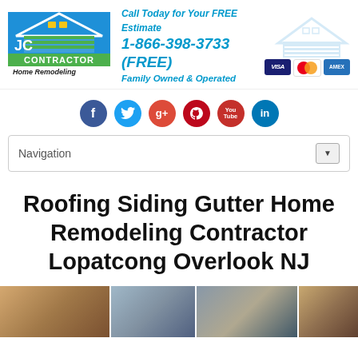[Figure (logo): JC Contractor Home Remodeling logo — blue/green house graphic with 'JC' lettering, 'CONTRACTOR' in bold green, 'Home Remodeling' in black italic]
Call Today for Your FREE Estimate
1-866-398-3733 (FREE)
Family Owned & Operated
[Figure (logo): Credit card payment icons: VISA, MasterCard, American Express]
[Figure (infographic): Social media icons row: Facebook, Twitter, Google+, Pinterest, YouTube, LinkedIn]
Navigation
Roofing Siding Gutter Home Remodeling Contractor Lopatcong Overlook NJ
[Figure (photo): Bottom image strip showing four photos: interior kitchen/dining room, house exterior, construction blueprints with tools, interior room]